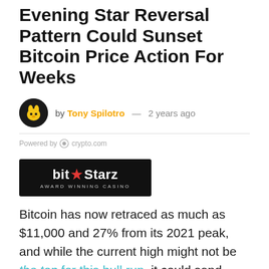Evening Star Reversal Pattern Could Sunset Bitcoin Price Action For Weeks
by Tony Spilotro — 2 years ago
Powered by crypto.com
[Figure (logo): BitStarz Award Winning Casino logo on black background]
Bitcoin has now retraced as much as $11,000 and 27% from its 2021 peak, and while the current high might not be the top for this bull run, it could send price